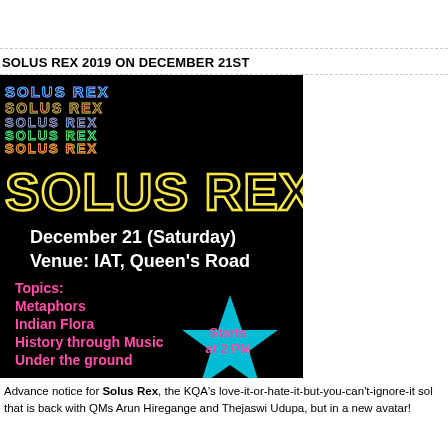SOLUS REX 2019 ON DECEMBER 21ST
[Figure (illustration): Event poster for Solus Rex on black background. Colorful layered text 'SOLUS REX' in pink, green, yellow, teal above large yellow outlined 'SOLUS REX'. White bold text: 'December 21 (Saturday)' and 'Venue: IAT, Queen's Road'. Pink text listing topics: 'Topics:', 'Metaphors', 'Indian Flora', 'History through Music', 'Under the ground'. Cyan star shape with pink text 'Starts at 2 PM'.]
Advance notice for Solus Rex, the KQA's love-it-or-hate-it-but-you-can't-ignore-it sol that is back with QMs Arun Hiregange and Thejaswi Udupa, but in a new avatar!